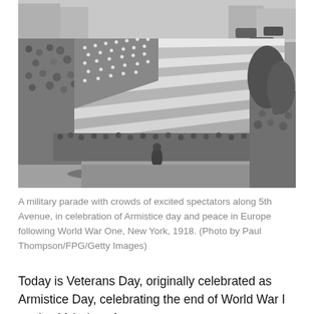[Figure (photo): A black and white aerial photograph of a military parade along a city street (5th Avenue, New York). A massive American flag is being carried by rows of marching participants, with large crowds of spectators lining both sides of the street. Automobiles and buildings are visible in the background.]
A military parade with crowds of excited spectators along 5th Avenue, in celebration of Armistice day and peace in Europe following World War One, New York, 1918. (Photo by Paul Thompson/FPG/Getty Images)
Today is Veterans Day, originally celebrated as Armistice Day, celebrating the end of World War I on the 11th day of